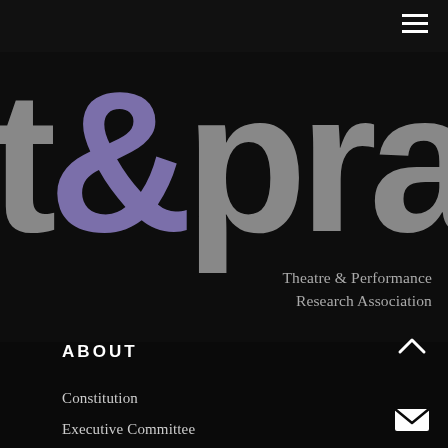[Figure (logo): t&pra logo — large grey letters 't&pra' with the ampersand in purple/violet, on a dark background. Below the letters: 'Theatre & Performance Research Association' in grey serif text]
ABOUT
Constitution
Executive Committee
History and Ethos
News